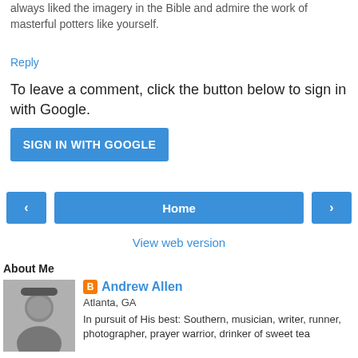always liked the imagery in the Bible and admire the work of masterful potters like yourself.
Reply
To leave a comment, click the button below to sign in with Google.
[Figure (other): SIGN IN WITH GOOGLE button - blue rectangular button with white uppercase text]
[Figure (other): Navigation buttons: left arrow, Home center button, right arrow]
View web version
About Me
[Figure (photo): Black and white photo of a man wearing a cap, smiling]
Andrew Allen
Atlanta, GA
In pursuit of His best: Southern, musician, writer, runner, photographer, prayer warrior, drinker of sweet tea